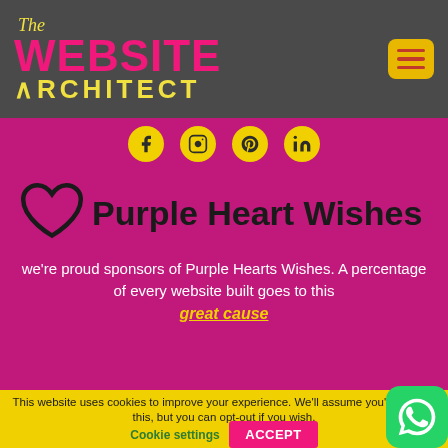The Website Architect — navigation header with hamburger menu
[Figure (infographic): Social media icons row: Facebook, Instagram, Pinterest, LinkedIn — yellow circles on magenta background]
Purple Heart Wishes
we're proud sponsors of Purple Hearts Wishes. A percentage of every website built goes to this great cause
This website uses cookies to improve your experience. We'll assume you're ok with this, but you can opt-out if you wish. Cookie settings | ACCEPT